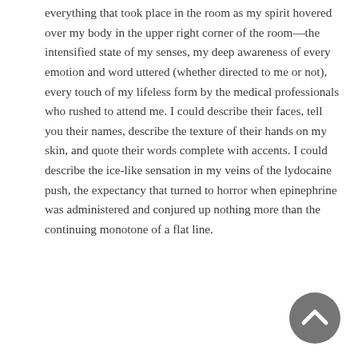everything that took place in the room as my spirit hovered over my body in the upper right corner of the room—the intensified state of my senses, my deep awareness of every emotion and word uttered (whether directed to me or not), every touch of my lifeless form by the medical professionals who rushed to attend me. I could describe their faces, tell you their names, describe the texture of their hands on my skin, and quote their words complete with accents. I could describe the ice-like sensation in my veins of the lydocaine push, the expectancy that turned to horror when epinephrine was administered and conjured up nothing more than the continuing monotone of a flat line.
[Figure (other): A circular grey back-to-top button with an upward-pointing chevron arrow icon]